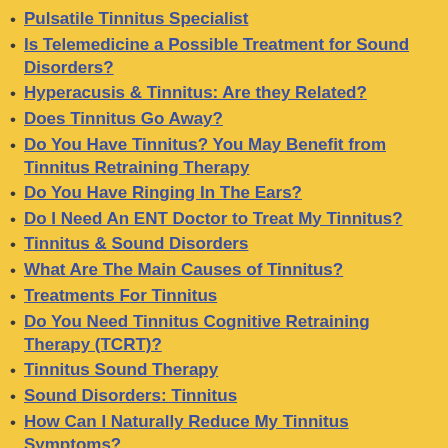Pulsatile Tinnitus Specialist
Is Telemedicine a Possible Treatment for Sound Disorders?
Hyperacusis & Tinnitus: Are they Related?
Does Tinnitus Go Away?
Do You Have Tinnitus? You May Benefit from Tinnitus Retraining Therapy
Do You Have Ringing In The Ears?
Do I Need An ENT Doctor to Treat My Tinnitus?
Tinnitus & Sound Disorders
What Are The Main Causes of Tinnitus?
Treatments For Tinnitus
Do You Need Tinnitus Cognitive Retraining Therapy (TCRT)?
Tinnitus Sound Therapy
Sound Disorders: Tinnitus
How Can I Naturally Reduce My Tinnitus Symptoms?
Constant Ringing In The Ears? You May Have Tinnitus
Is there A Cure For Tinnitus?
TINNITUS AND HEARING LOSS
RINGING IN THE EARS
I Have Tinnitus. What Are My Treatment Options?
What Is Tinnitus?